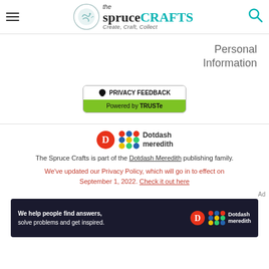[Figure (logo): The Spruce Crafts logo with hamburger menu and search icon in header]
Personal Information
[Figure (screenshot): Privacy Feedback button powered by TRUSTe]
[Figure (logo): Dotdash Meredith logo]
The Spruce Crafts is part of the Dotdash Meredith publishing family.
We've updated our Privacy Policy, which will go in to effect on September 1, 2022. Check it out here
Ad
[Figure (screenshot): Dotdash Meredith ad banner: We help people find answers, solve problems and get inspired.]